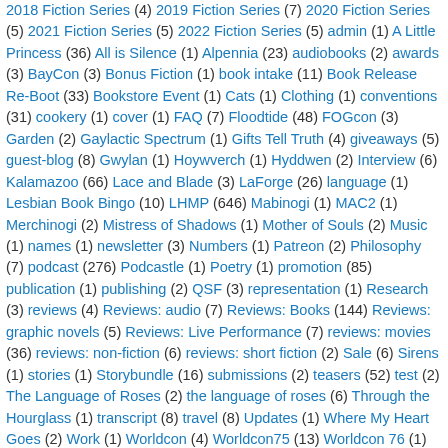2018 Fiction Series (4) 2019 Fiction Series (7) 2020 Fiction Series (5) 2021 Fiction Series (5) 2022 Fiction Series (5) admin (1) A Little Princess (36) All is Silence (1) Alpennia (23) audiobooks (2) awards (3) BayCon (3) Bonus Fiction (1) book intake (11) Book Release Re-Boot (33) Bookstore Event (1) Cats (1) Clothing (1) conventions (31) cookery (1) cover (1) FAQ (7) Floodtide (48) FOGcon (3) Garden (2) Gaylactic Spectrum (1) Gifts Tell Truth (4) giveaways (5) guest-blog (8) Gwylan (1) Hoywverch (1) Hyddwen (2) Interview (6) Kalamazoo (66) Lace and Blade (3) LaForge (26) language (1) Lesbian Book Bingo (10) LHMP (646) Mabinogi (1) MAC2 (1) Merchinogi (2) Mistress of Shadows (1) Mother of Souls (2) Music (1) names (1) newsletter (3) Numbers (1) Patreon (2) Philosophy (7) podcast (276) Podcastle (1) Poetry (1) promotion (85) publication (1) publishing (2) QSF (3) representation (1) Research (3) reviews (4) Reviews: audio (7) Reviews: Books (144) Reviews: graphic novels (5) Reviews: Live Performance (7) reviews: movies (36) reviews: non-fiction (6) reviews: short fiction (2) Sale (6) Sirens (1) stories (1) Storybundle (16) submissions (2) teasers (52) test (2) The Language of Roses (2) the language of roses (6) Through the Hourglass (1) transcript (8) travel (8) Updates (1) Where My Heart Goes (2) Work (1) Worldcon (4) Worldcon75 (13) Worldcon 76 (1) Worldcon 77 (12) writing (53) Year-End Summary (10)